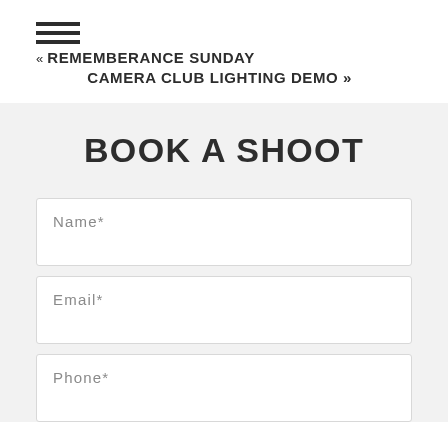« REMEMBERANCE SUNDAY CAMERA CLUB LIGHTING DEMO »
BOOK A SHOOT
Name*
Email*
Phone*